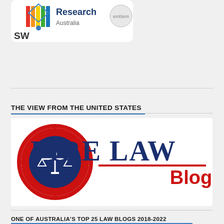[Figure (logo): Partial logo showing 'Research Australia' text with colorful graphic elements and 'SW' text visible at bottom left, on white rounded rectangle background]
THE VIEW FROM THE UNITED STATES
[Figure (logo): Fire Law Blog logo: red and navy circular scales-of-justice emblem on left, dark blue 'FIRE LAW' text with red underline and red 'Blog' text on right, on white background]
ONE OF AUSTRALIA'S TOP 25 LAW BLOGS 2018-2022
[Figure (illustration): Partial medal/badge showing a red and gold 'V' chevron shape at the bottom of the page]